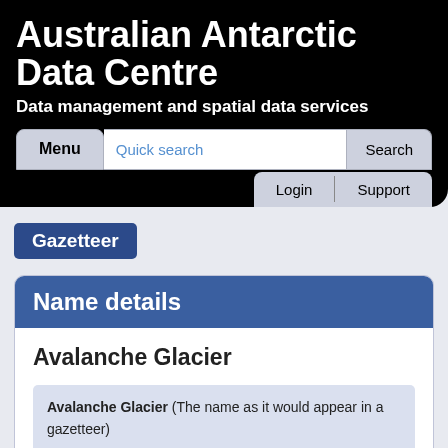Australian Antarctic Data Centre
Data management and spatial data services
[Figure (screenshot): Navigation bar with Menu button, Quick search input field, Search button, Login and Support links]
Gazetteer
Name details
Avalanche Glacier
Avalanche Glacier (The name as it would appear in a gazetteer)